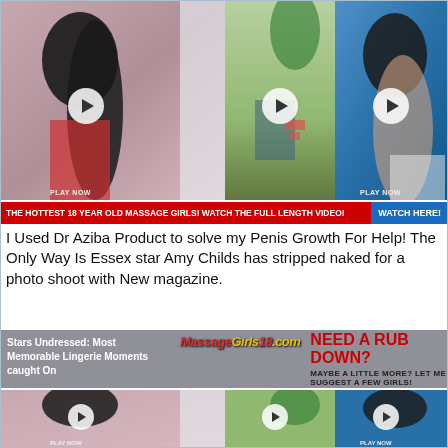[Figure (screenshot): Three video thumbnail panels side by side showing women, with play buttons overlaid. Left panel shows dark-haired woman in red, center shows spa/massage background, right shows woman against blue background.]
THE HOTTEST 18 YEAR OLD MASSAGE GIRLS! WATCH THE FULL LENGTH VIDEO!  WATCH HERE!
I Used Dr Aziba Product to solve my Penis Growth For Help! The Only Way Is Essex star Amy Childs has stripped naked for a photo shoot with New magazine.
[Figure (screenshot): Overlay advertisement banner: 'Stars Undressed: Most Memorable Lingerie Moments caught On' with MassageGirls18.com logo and 'NEED A RUB DOWN? MAYBE A LITTLE MORE? LET ME SUGGEST A FEW GIRLS!']
[Figure (screenshot): Bottom repeated video thumbnail panels, partial view, same three panels as top.]